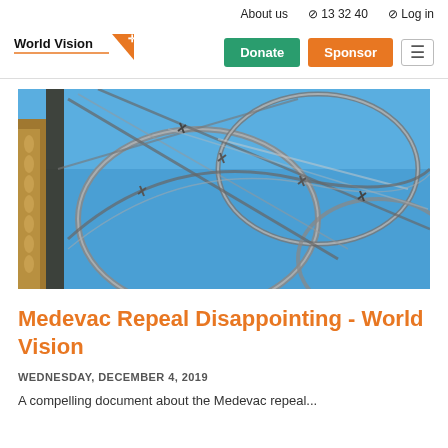About us  ⊘ 13 32 40  ⊘ Log in
[Figure (logo): World Vision logo — orange/black text with orange triangle and cross star mark]
[Figure (photo): Close-up photograph of razor wire / barbed wire coils against a bright blue sky, with golden metallic fence posts visible on the left side]
Medevac Repeal Disappointing - World Vision
WEDNESDAY, DECEMBER 4, 2019
A compelling document about the Medevac repeal...